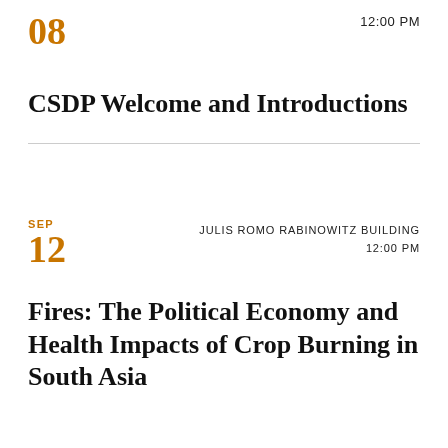12:00 PM
08
CSDP Welcome and Introductions
SEP
12
JULIS ROMO RABINOWITZ BUILDING
12:00 PM
Fires: The Political Economy and Health Impacts of Crop Burning in South Asia